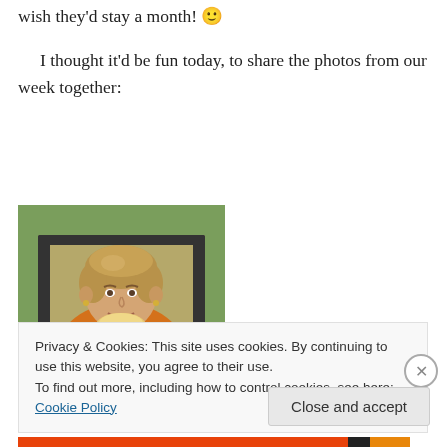wish they'd stay a month! 🙂
I thought it'd be fun today, to share the photos from our week together:
[Figure (photo): A woman with short blonde hair sitting in an outdoor chair smiling, with a young blonde girl sitting on her lap, both smiling. Outdoor setting with green foliage in background.]
Privacy & Cookies: This site uses cookies. By continuing to use this website, you agree to their use.
To find out more, including how to control cookies, see here: Cookie Policy
Close and accept